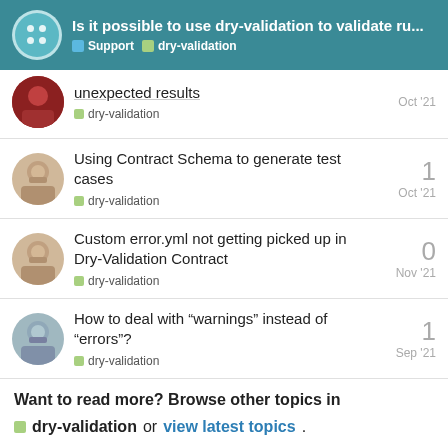Is it possible to use dry-validation to validate ru... | Support | dry-validation
unexpected results | dry-validation | Oct '21
Using Contract Schema to generate test cases | dry-validation | Oct '21 | replies: 1
Custom error.yml not getting picked up in Dry-Validation Contract | dry-validation | Nov '21 | replies: 0
How to deal with “warnings” instead of “errors”? | dry-validation | Sep '21 | replies: 1
Want to read more? Browse other topics in dry-validation or view latest topics.